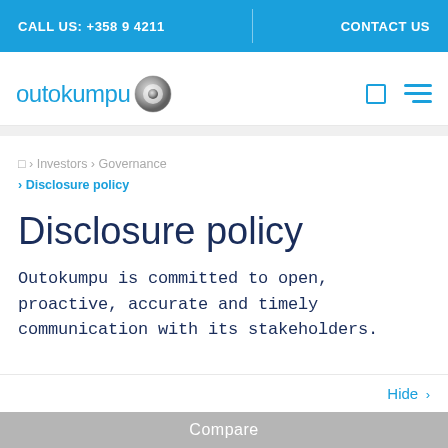CALL US: +358 9 4211   CONTACT US
[Figure (logo): Outokumpu logo with circular chrome icon]
❑ › Investors › Governance › Disclosure policy
Disclosure policy
Outokumpu is committed to open, proactive, accurate and timely communication with its stakeholders.
Hide ›
Compare